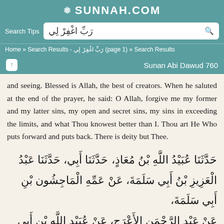SUNNAH.COM
Search Tips  رَبِّ اغْفِرْ لِي
Home » Search Results - رَبِّ اغْفِرْ لِي (page 1) » Search Results
Sunan Abi Dawud 760
and seeing. Blessed is Allah, the best of creators. When he saluted at the end of the prayer, he said: O Allah, forgive me my former and my latter sins, my open and secret sins, my sins in exceeding the limits, and what Thou knowest better than I. Thou art He Who puts forward and puts back. There is deity but Thee.
حَدَّثَنَا عُبَيْدُ اللَّهِ بْنُ مُعَاذٍ، حَدَّثَنَا أَبِي، حَدَّثَنَا عَبْدُ الْعَزِيزِ بْنُ أَبِي سَلَمَةَ، عَنْ عَمِّهِ الْمَاجِشُون بْنِ أَبِي سَلَمَةَ، عَنْ عَبْدِ الرَّحْمَنِ الأَعْرَجِ، عَنْ عُبَيْدِ اللَّهِ بْنِ أَبِي رَافِعٍ،